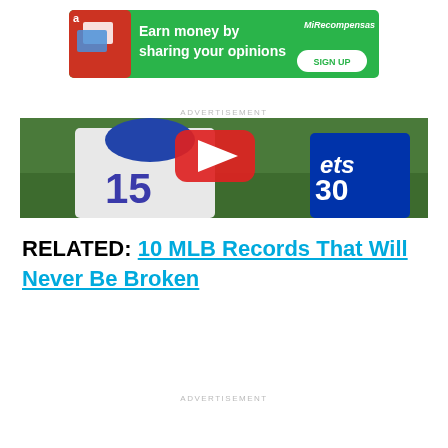[Figure (other): Green advertisement banner: 'Earn money by sharing your opinions' with SIGN UP button and MiRecompensas logo]
ADVERTISEMENT
[Figure (photo): Baseball players in Mets uniforms, number 15 and 30, on a green field. A red YouTube play button overlay is visible.]
RELATED: 10 MLB Records That Will Never Be Broken
ADVERTISEMENT